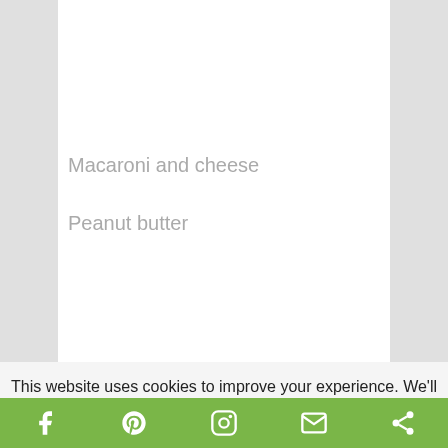Macaroni and cheese
Peanut butter
This website uses cookies to improve your experience. We'll assume you're ok with this, but you can opt-out if you wish.